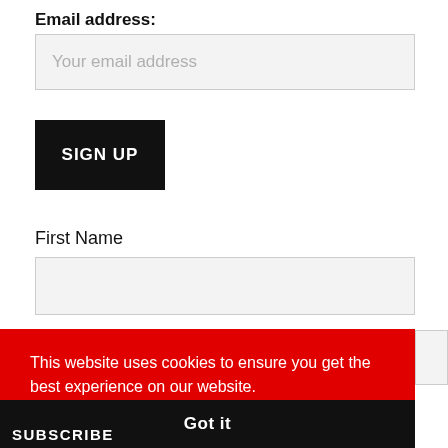Email address:
[Figure (other): Email address input field with placeholder text 'Your email address']
[Figure (other): SIGN UP button, black background, white bold uppercase text]
First Name
[Figure (other): First Name input field, empty, light gray background]
This website uses cookies to ensure you get the best experience on our website.
Learn more
Got it
SUBSCRIBE